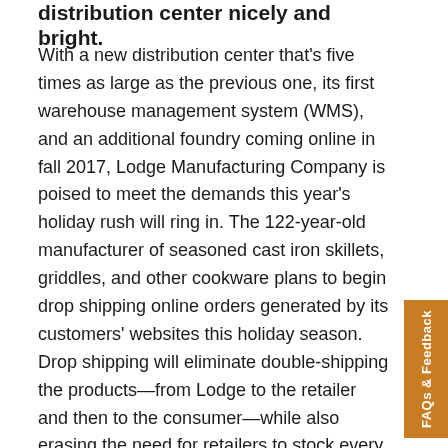distribution center nicely and bright.
With a new distribution center that's five times as large as the previous one, its first warehouse management system (WMS), and an additional foundry coming online in fall 2017, Lodge Manufacturing Company is poised to meet the demands this year's holiday rush will ring in. The 122-year-old manufacturer of seasoned cast iron skillets, griddles, and other cookware plans to begin drop shipping online orders generated by its customers' websites this holiday season. Drop shipping will eliminate double-shipping the products—from Lodge to the retailer and then to the consumer—while also erasing the need for retailers to stock every Lodge product in their own distribution centers. It also will allow Lodge's retail customers to offer a larger product selection online than they can display in stores.